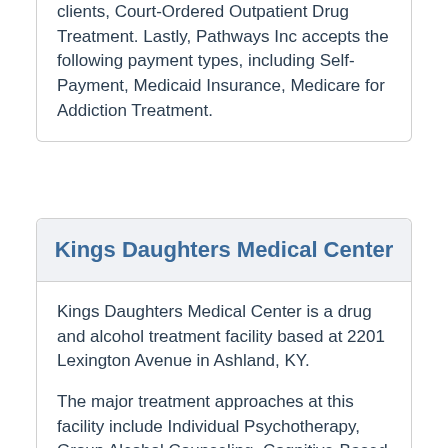clients, Court-Ordered Outpatient Drug Treatment. Lastly, Pathways Inc accepts the following payment types, including Self-Payment, Medicaid Insurance, Medicare for Addiction Treatment.
Kings Daughters Medical Center
Kings Daughters Medical Center is a drug and alcohol treatment facility based at 2201 Lexington Avenue in Ashland, KY.
The major treatment approaches at this facility include Individual Psychotherapy, Group Alcohol Counseling, Cognitive-Based